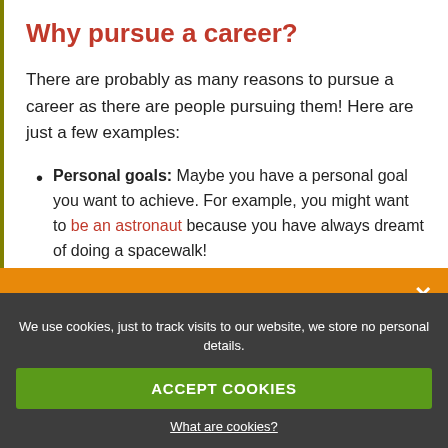Why pursue a career?
There are probably as many reasons to pursue a career as there are people pursuing them! Here are just a few examples:
Personal goals: Maybe you have a personal goal you want to achieve. For example, you might want to be an astronaut because you have always dreamt of doing a spacewalk!
Fulfilment: Maybe you want to be a carpenter because you find woodwork fulfilling and want to way them to turn it into your livelihood?
Sign up to receive careers advice and info about apprenticeships & school leaver jobs.
We use cookies, just to track visits to our website, we store no personal details.
ACCEPT COOKIES
What are cookies?